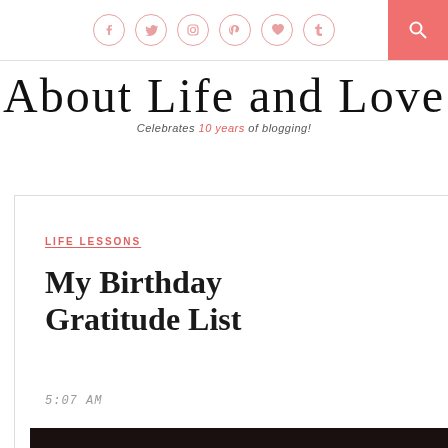Social icons: Facebook, Twitter, Instagram, Pinterest, Heart, Tumblr; Search button
About Life and Love
Celebrates 10 years of blogging!
LIFE LESSONS
My Birthday Gratitude List
5:07 AM
[Figure (photo): Dark atmospheric photo with bokeh lights in the background, appears to be an evening/night scene with blurred light orbs]